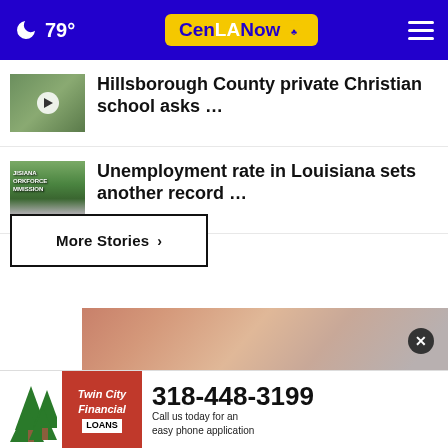79° CenLANow
Hillsborough County private Christian school asks …
Unemployment rate in Louisiana sets another record …
More Stories ›
[Figure (photo): Close-up photo of a human foot/ankle showing dry or irritated skin]
[Figure (infographic): Twin City Financial Loans advertisement banner: 318-448-3199, Call us today for an easy phone application]